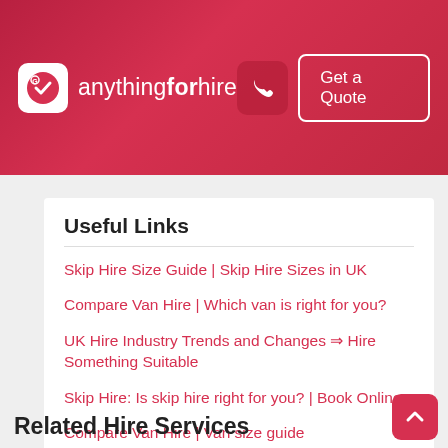anythingforhire — Get a Quote
Useful Links
Skip Hire Size Guide | Skip Hire Sizes in UK
Compare Van Hire | Which van is right for you?
UK Hire Industry Trends and Changes ⇒ Hire Something Suitable
Skip Hire: Is skip hire right for you? | Book Online
Compare Van Hire | Van size guide
Related Hire Services